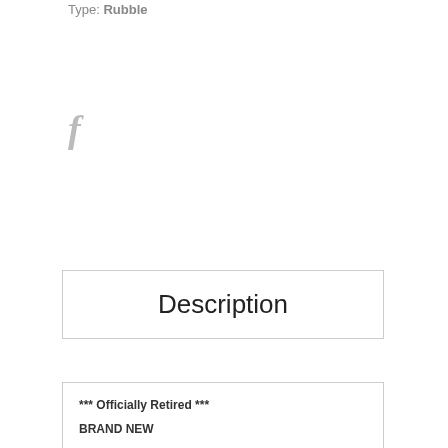Type: Rubble
[Figure (logo): Facebook 'f' icon in light gray]
Description
*** Officially Retired ***

BRAND NEW

"RETIRED" Build-a-Rama 1:32 scale Hand Painted WWII Deluxe Rubble Pile #1 Set. This Deluxe Rubble Pile #1 is Resin Cast for Durability and has been Painted and Weathered by Hand. This Deluxe Rubble Pile #1 will Add Realism to Every Diorama. Add these sets together to Make Larger Fortifications.